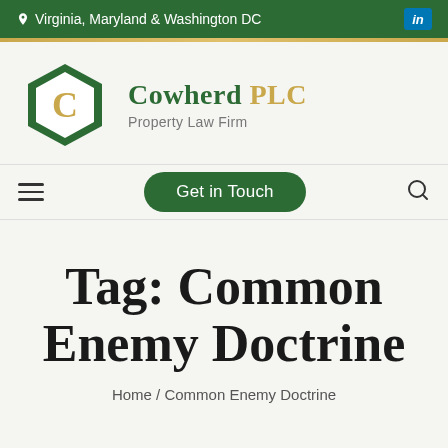Virginia, Maryland & Washington DC
[Figure (logo): Cowherd PLC hexagon logo with gold C letter inside green hexagon border, company name 'Cowherd PLC' and subtitle 'Property Law Firm']
Get in Touch
Tag: Common Enemy Doctrine
Home / Common Enemy Doctrine